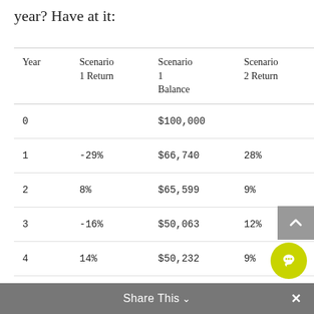year? Have at it:
| Year | Scenario
1 Return | Scenario
1
Balance | Scenario
2 Return |
| --- | --- | --- | --- |
| 0 |  | $100,000 |  |
| 1 | -29% | $66,740 | 28% |
| 2 | 8% | $65,599 | 9% |
| 3 | -16% | $50,063 | 12% |
| 4 | 14% | $50,232 | 9% |
| 5 | 8% | $47,771 |  |
| 6 | 10% | $45,948 | 8% |
Share This ∨  ×